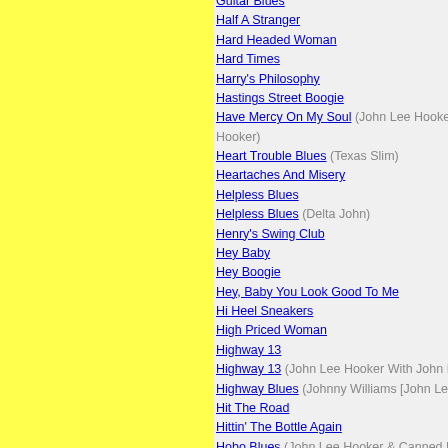Guitar Blues
Half A Stranger
Hard Headed Woman
Hard Times
Harry's Philosophy
Hastings Street Boogie
Have Mercy On My Soul (John Lee Hooker feat. B. Hooker)
Heart Trouble Blues (Texas Slim)
Heartaches And Misery
Helpless Blues
Helpless Blues (Delta John)
Henry's Swing Club
Hey Baby
Hey Boogie
Hey, Baby You Look Good To Me
Hi Heel Sneakers
High Priced Woman
Highway 13
Highway 13 (John Lee Hooker With John Hammond)
Highway Blues (Johnny Williams [John Lee Hooker])
Hit The Road
Hittin' The Bottle Again
Hobo Blues (John Lee Hooker & Canned Heat)
Hobo Blues
Homework
Hoogie Boogie
Hot Spring Water
House Rent Blues
House Rent Boogie (Johnny Williams [John Lee Hooker])
How Can You Do It
How Long Blues
How Long Must I Be Your Slave
How Long?
How Many More Years You Gonna Dog Me 'Round
How Many More Years?